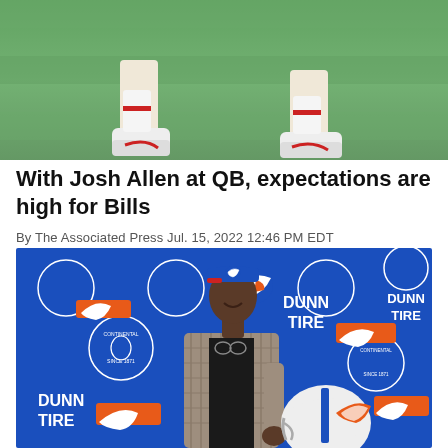[Figure (photo): Top portion of a photo showing legs and feet of a person on a green football field turf, wearing white shoes with red logo.]
With Josh Allen at QB, expectations are high for Bills
By The Associated Press Jul. 15, 2022 12:46 PM EDT
[Figure (photo): A man in a plaid blazer smiling and holding a Buffalo Bills helmet, posing in front of a blue Buffalo Bills branded backdrop with Dunn Tire and Continental sponsorship logos.]